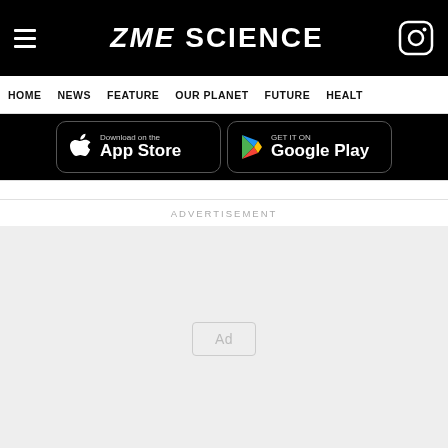ZME SCIENCE
HOME  NEWS  FEATURE  OUR PLANET  FUTURE  HEALT
[Figure (screenshot): App Store and Google Play download buttons on black background]
ADVERTISEMENT
[Figure (other): Advertisement placeholder box with 'Ad' label]